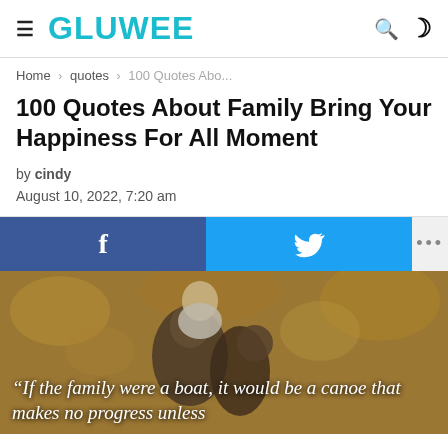GLUWEE
Home › quotes › 100 Quotes Abo...
100 Quotes About Family Bring Your Happiness For All Moment
by cindy
August 10, 2022, 7:20 am
[Figure (infographic): Social share buttons: Facebook (blue), Twitter (cyan), and more options (gray with ellipsis)]
[Figure (photo): Family photo with a child on shoulders, warm autumn background. Overlaid italic quote text: 'If the family were a boat, it would be a canoe that makes no progress unless']